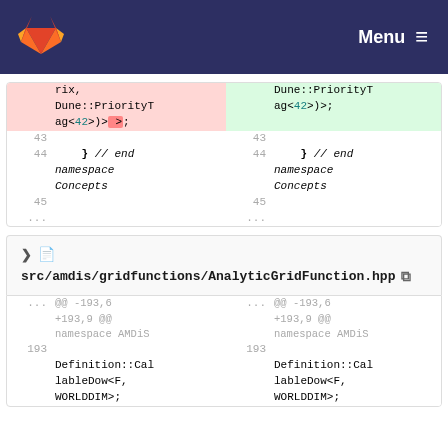GitLab Menu
[Figure (screenshot): Diff view showing code changes in two files: first diff block shows lines 43-45 with deletion of 'rix, Dune::PriorityTag<42>)> >;' and addition of 'Dune::PriorityTag<42>);', and lines 43-45 with '} // end namespace Concepts'. Second diff block shows src/amdis/gridfunctions/AnalyticGridFunction.hpp with hunk @@ -193,6 +193,9 @@ namespace AMDiS and line 193 with Definition::CallableDow<F, WORLDDIM>;]